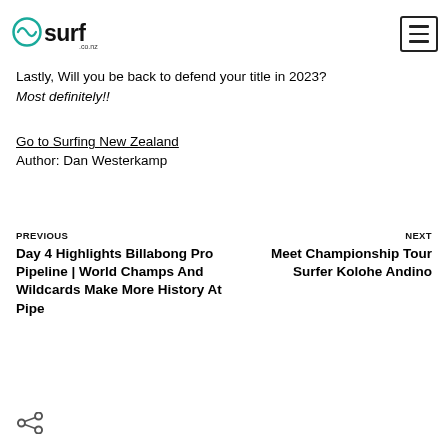surf.co.nz logo and hamburger menu
Lastly, Will you be back to defend your title in 2023?
Most definitely!!
Go to Surfing New Zealand
Author: Dan Westerkamp
PREVIOUS
Day 4 Highlights Billabong Pro Pipeline | World Champs And Wildcards Make More History At Pipe
NEXT
Meet Championship Tour Surfer Kolohe Andino
[Figure (illustration): Share icon (social sharing button) at bottom left]